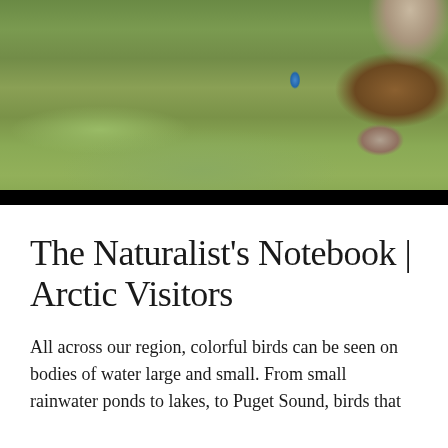[Figure (photo): A bird of prey (possibly an owl or hawk) with ruffled brown feathers crouching on a green grass field. A small blue flag/marker is visible in the background. The lower portion of the image has a black bar.]
The Naturalist's Notebook | Arctic Visitors
All across our region, colorful birds can be seen on bodies of water large and small. From small rainwater ponds to lakes, to Puget Sound, birds that